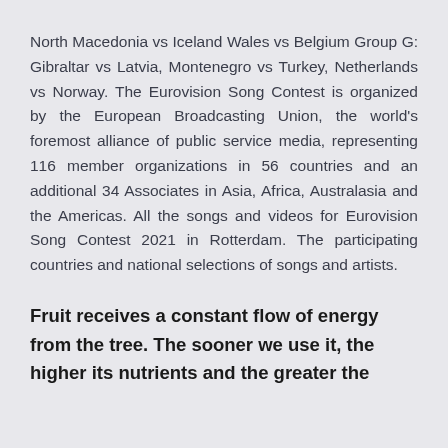North Macedonia vs Iceland Wales vs Belgium Group G: Gibraltar vs Latvia, Montenegro vs Turkey, Netherlands vs Norway. The Eurovision Song Contest is organized by the European Broadcasting Union, the world's foremost alliance of public service media, representing 116 member organizations in 56 countries and an additional 34 Associates in Asia, Africa, Australasia and the Americas. All the songs and videos for Eurovision Song Contest 2021 in Rotterdam. The participating countries and national selections of songs and artists.
Fruit receives a constant flow of energy from the tree. The sooner we use it, the higher its nutrients and the greater the